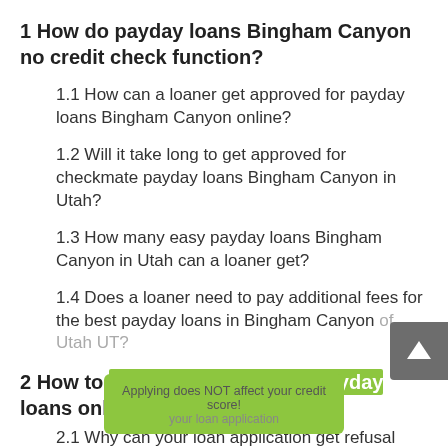1  How do payday loans Bingham Canyon no credit check function?
1.1  How can a loaner get approved for payday loans Bingham Canyon online?
1.2  Will it take long to get approved for checkmate payday loans Bingham Canyon in Utah?
1.3  How many easy payday loans Bingham Canyon in Utah can a loaner get?
1.4  Does a loaner need to pay additional fees for the best payday loans in Bingham Canyon of Utah UT?
2  How to get Bingham Canyon payday loans online?
Applying does NOT affect your credit score!
your loan application
2.1  Why can your loan application get refusal